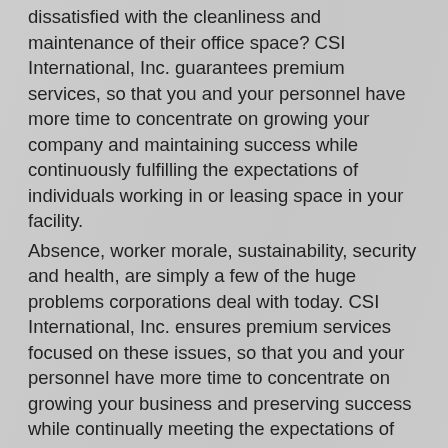dissatisfied with the cleanliness and maintenance of their office space? CSI International, Inc. guarantees premium services, so that you and your personnel have more time to concentrate on growing your company and maintaining success while continuously fulfilling the expectations of individuals working in or leasing space in your facility.
Absence, worker morale, sustainability, security and health, are simply a few of the huge problems corporations deal with today. CSI International, Inc. ensures premium services focused on these issues, so that you and your personnel have more time to concentrate on growing your business and preserving success while continually meeting the expectations of your on site labor force as well as potential customers visiting your facility.
Why trust CSI International, Inc. as a partner in producing a healthy and safe environment for your professors, personnel, and students? Due to the fact that CSI International, Inc. comprehends that there is absolutely nothing more important to the parents of these trainees then a safe and clean environment for their children. CSI International, Inc. guarantees premium services, so that moms